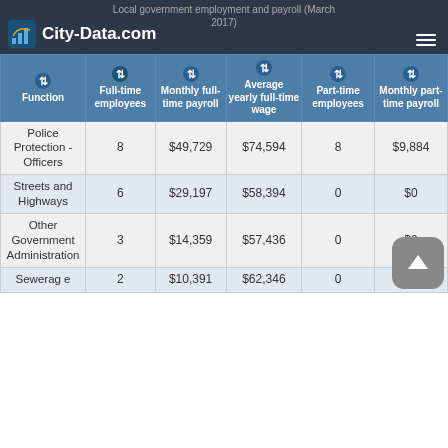Local government employment and payroll (March 2017) — City-Data.com
| Function | Full-time employees | Monthly full-time payroll | Average yearly full-time wage | Part-time employees | Monthly part-time payroll |
| --- | --- | --- | --- | --- | --- |
| Police Protection - Officers | 8 | $49,729 | $74,594 | 8 | $9,884 |
| Streets and Highways | 6 | $29,197 | $58,394 | 0 | $0 |
| Other Government Administration | 3 | $14,359 | $57,436 | 0 | $0 |
| Sewerage | 2 | $10,391 | $62,346 | 0 | $0 |